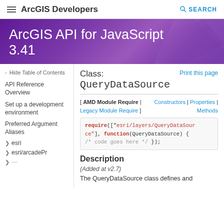≡  ArcGIS Developers    🔍 SEARCH
[Figure (screenshot): Purple banner with ArcGIS API for JavaScript 3.41 title]
‹ Hide Table of Contents
API Reference Overview
Set up a development environment
Preferred Argument Aliases
› esri
› esri/arcadePr
Class: QueryDataSource
Print this page
[ AMD Module Require | Legacy Module Require ]     Constructors | Properties | Methods
Description
(Added at v2.7)
The QueryDataSource class defines and